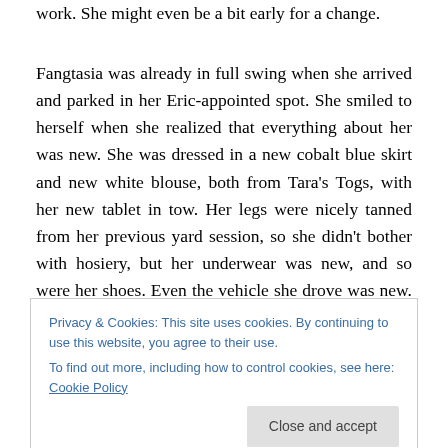work. She might even be a bit early for a change.
Fangtasia was already in full swing when she arrived and parked in her Eric-appointed spot. She smiled to herself when she realized that everything about her was new. She was dressed in a new cobalt blue skirt and new white blouse, both from Tara’s Togs, with her new tablet in tow. Her legs were nicely tanned from her previous yard session, so she didn’t bother with hosiery, but her underwear was new, and so were her shoes. Even the vehicle she drove was new. As she entered the club via
Privacy & Cookies: This site uses cookies. By continuing to use this website, you agree to their use.
To find out more, including how to control cookies, see here: Cookie Policy
“Her,” Pam said with abject boredom as she handed over